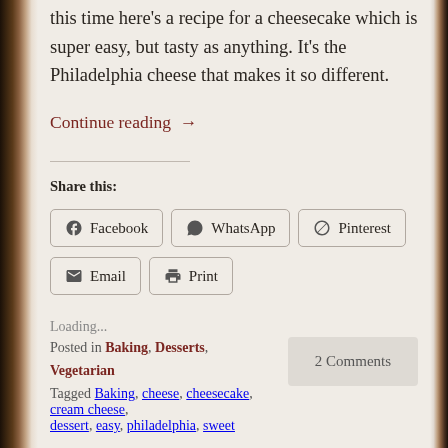this time here's a recipe for a cheesecake which is super easy, but tasty as anything. It's the Philadelphia cheese that makes it so different.
Continue reading →
Share this:
Facebook
WhatsApp
Pinterest
Email
Print
Loading...
Posted in Baking, Desserts, Vegetarian
Tagged Baking, cheese, cheesecake, cream cheese, dessert, easy, philadelphia, sweet
2 Comments